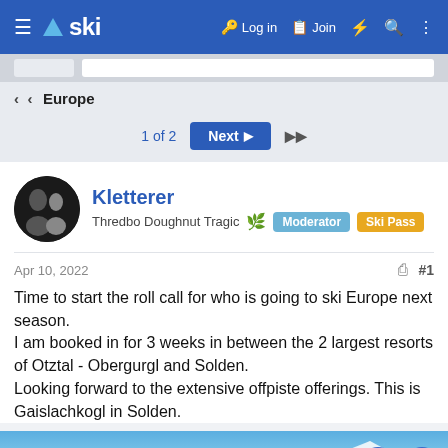ski — Log in  Join
< Europe
1 of 2  Next ▶▶
Kletterer
Thredbo Doughnut Tragic  Moderator  Ski Pass
Apr 10, 2022  #1
Time to start the roll call for who is going to ski Europe next season.
I am booked in for 3 weeks in between the 2 largest resorts of Otztal - Obergurgl and Solden.
Looking forward to the extensive offpiste offerings. This is Gaislachkogl in Solden.
[Figure (photo): Mountain snow scene with blue sky, appearing to be Gaislachkogl in Solden ski resort.]